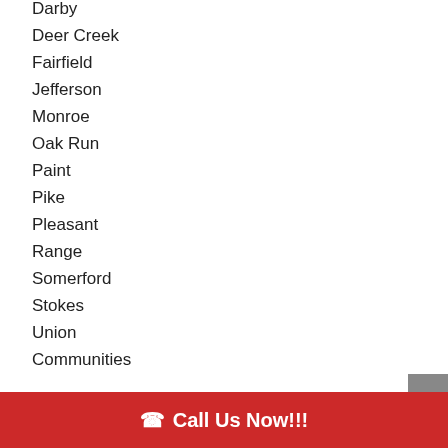Darby
Deer Creek
Fairfield
Jefferson
Monroe
Oak Run
Paint
Pike
Pleasant
Range
Somerford
Stokes
Union
Communities
Amity
Big Plain
Call Us Now!!!